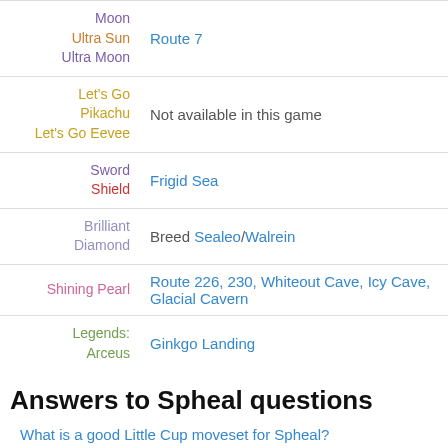| Game | Location |
| --- | --- |
| Moon / Ultra Sun / Ultra Moon | Route 7 |
| Let's Go Pikachu / Let's Go Eevee | Not available in this game |
| Sword / Shield | Frigid Sea |
| Brilliant Diamond | Breed Sealeo/Walrein |
| Shining Pearl | Route 226, 230, Whiteout Cave, Icy Cave, Glacial Cavern |
| Legends: Arceus | Ginkgo Landing |
Answers to Spheal questions
What is a good Little Cup moveset for Spheal?
Which Spheal should I use?